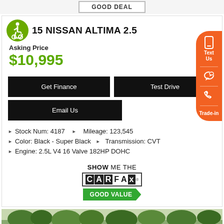[Figure (other): GOOD DEAL badge/label in a bordered box at top]
2015 NISSAN ALTIMA 2.5
Asking Price
$10,995
Get Finance
Test Drive
Email Us
Stock Num: 4187   Mileage: 123,545
Color: Black - Super Black   Transmission: CVT
Engine: 2.5L V4 16 Valve 182HP DOHC
[Figure (logo): SHOW ME THE CARFAX logo with GOOD VALUE badge in green]
[Figure (photo): Outdoor photo showing trees and cars at bottom of page]